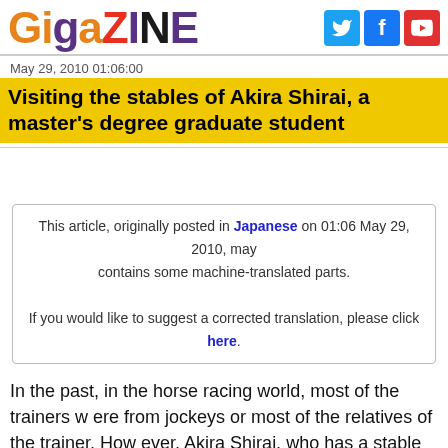Gigazine
May 29, 2010 01:06:00
Visiting the stables of Akira Shirai, a master's degree graduate student
This article, originally posted in Japanese on 01:06 May 29, 2010, may contains some machine-translated parts. If you would like to suggest a corrected translation, please click here.
In the past, in the horse racing world, most of the trainers were from jockeys or most of the relatives of the trainer. However, Akira Shirai, who has a stable at the Kurito Training Center, has a unique career, having graduated from university and